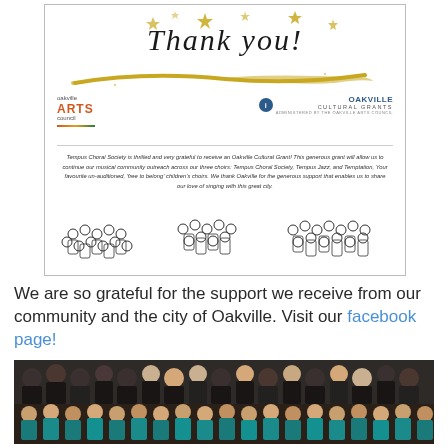[Figure (illustration): Thank you card with gold stars, script 'Thank you!' text, gold swoosh underline, Oakville Arts Council and Oakville Cultural Grants logos, italic body text about Tempus Choral Society receiving an Oakville Cultural Grant, and cartoon choir illustrations at the bottom.]
We are so grateful for the support we receive from our community and the city of Oakville. Visit our facebook page!
[Figure (photo): Group photo of a large choir performing on stage. Adults in black attire in the back rows and children in teal/blue shirts in the front rows.]